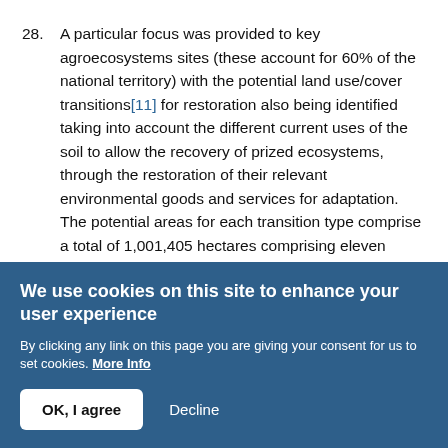28. A particular focus was provided to key agroecosystems sites (these account for 60% of the national territory) with the potential land use/cover transitions[11] for restoration also being identified taking into account the different current uses of the soil to allow the recovery of prized ecosystems, through the restoration of their relevant environmental goods and services for adaptation. The potential areas for each transition type comprise a total of 1,001,405 hectares comprising eleven proposed transitions pointing to the high potential for
We use cookies on this site to enhance your user experience
By clicking any link on this page you are giving your consent for us to set cookies. More Info
OK, I agree   Decline